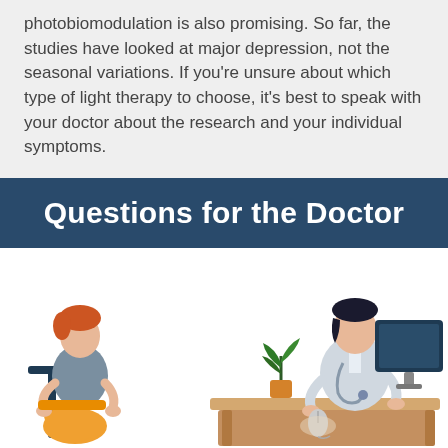photobiomodulation is also promising. So far, the studies have looked at major depression, not the seasonal variations. If you're unsure about which type of light therapy to choose, it's best to speak with your doctor about the research and your individual symptoms.
Questions for the Doctor
[Figure (illustration): Illustration of a patient (left) sitting on a chair talking to a doctor (right) who is seated behind a desk with a computer monitor. A small potted plant sits on the desk between them.]